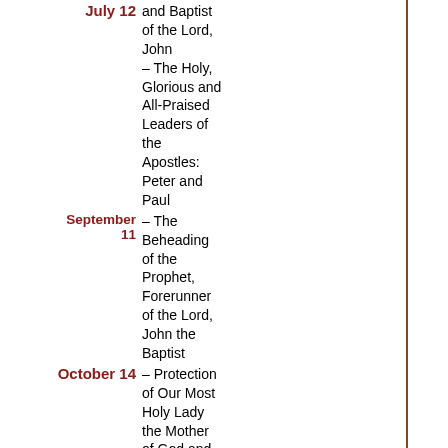July 12 – The Holy, Glorious and All-Praised Leaders of the Apostles: Peter and Paul – The Beheading of the Prophet, Forerunner of the Lord, John the Baptist
September 11 – Protection of Our Most Holy Lady the Mother of God and Ever-Virgin Mary
October 14 – Protection of Our Most Holy Lady the Mother of God and Ever-Virgin Mary
Fasting Seasons
March 1 – April 17 — Great Lent
June 14 – Apostles' (Peter &